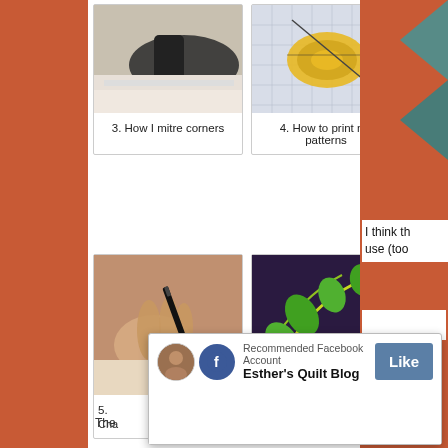[Figure (photo): Close-up of an iron pressing fabric corner (mitre corners tutorial)]
3. How I mitre corners
[Figure (photo): Measuring tape and sewing pattern blueprints (how to print patterns tutorial)]
4. How to print my patterns
[Figure (photo): Hand holding a marking pen near fabric for chalking/tracing]
[Figure (photo): Colourful decorative quilt with green leaf/vine appliqué design]
5.
Cha
[Figure (screenshot): Facebook popup: Recommended Facebook Account — Esther's Quilt Blog, with Like button]
I think th use (too
The
X CLOSE